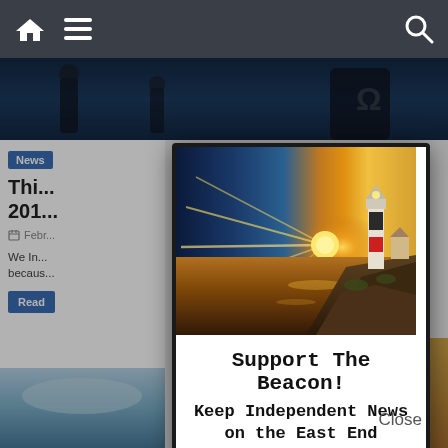Navigation bar with home, menu, and search icons
[Figure (screenshot): Website screenshot showing a news article page partially obscured by a modal popup. The background shows a dark navigation bar at top, a blue banner image area, and a white article section on the left with 'News' badge, article title starting with 'Thi...', date 'Febr...', and partial text 'We In... becaus...', with a blue 'Read' button.]
[Figure (photo): Lighthouse at sunset photo inside modal popup. Shows a dramatic sunset over water on the left with golden/orange rays, and a black-and-white striped lighthouse on a rocky cliff on the right. Sky has blue and golden tones.]
Support The Beacon!
Keep Independent News on the East End
Close